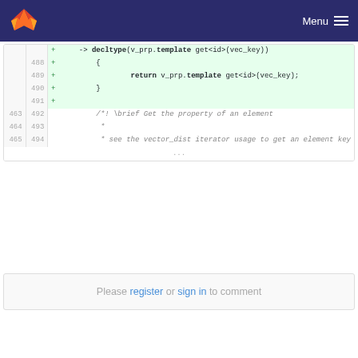Menu
[Figure (screenshot): GitLab code diff view showing C++ code lines 488-494 with added lines (green background) and unchanged lines. Added lines show a function body with decltype return type, template get call, and braces. Unchanged lines show a Doxygen comment block starting with /*! \brief Get the property of an element.]
Please register or sign in to comment